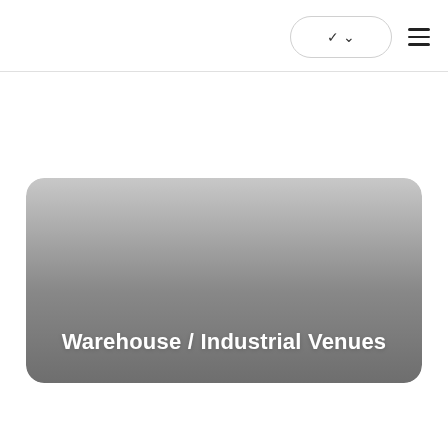[Figure (illustration): A rounded rectangle card with a top-to-bottom gradient from light grey to dark grey, containing the white bold text 'Warehouse / Industrial Venues' at the bottom center.]